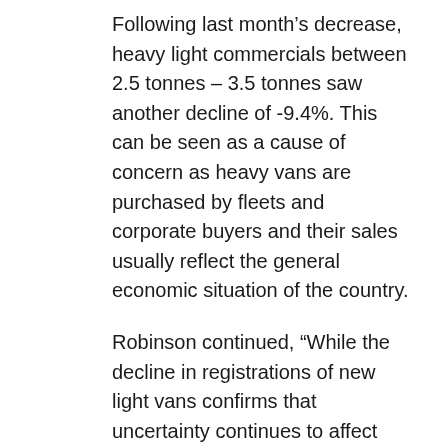Following last month's decrease, heavy light commercials between 2.5 tonnes – 3.5 tonnes saw another decline of -9.4%. This can be seen as a cause of concern as heavy vans are purchased by fleets and corporate buyers and their sales usually reflect the general economic situation of the country.
Robinson continued, “While the decline in registrations of new light vans confirms that uncertainty continues to affect businesses and consumers, the new light commercial vehicle market remains at high levels.”
ENDS
NOTES TO EDITORS: